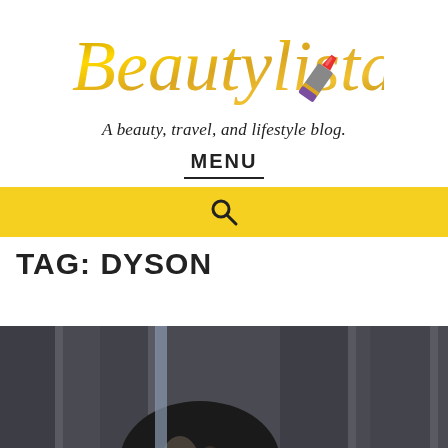[Figure (logo): Beautylista blog logo in gold cursive script with a lipstick icon]
A beauty, travel, and lifestyle blog.
MENU
[Figure (infographic): Yellow search bar with magnifying glass icon]
TAG: DYSON
[Figure (photo): Cropped photo of a person with dark hair against dark curtains/drapes background]